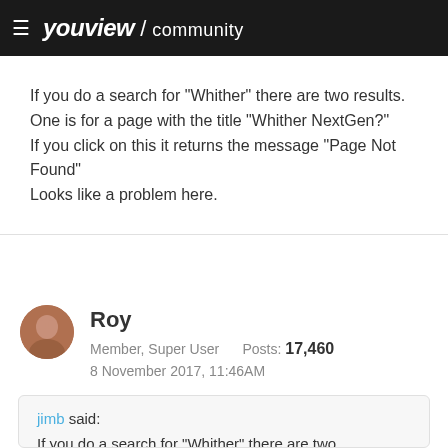youview / community
If you do a search for "Whither" there are two results.
One is for a page with the title "Whither NextGen?"
If you click on this it returns the message "Page Not Found"
Looks like a problem here.
Roy
Member, Super User    Posts: 17,460
8 November 2017, 11:46AM
jimb said:
If you do a search for "Whither" there are two results.
One is for a page with the title "Whither NextGen?"
If you click on this it returns the message "Page Not